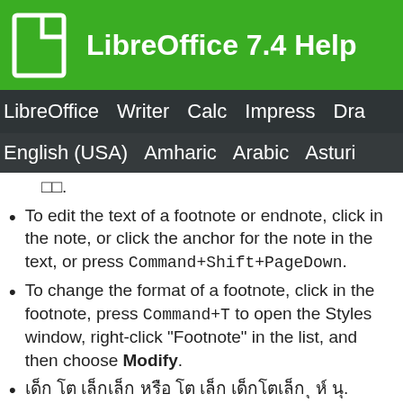LibreOffice 7.4 Help
LibreOffice Writer Calc Impress Dra
English (USA) Amharic Arabic Asturi
ØØ.
To edit the text of a footnote or endnote, click in the note, or click the anchor for the note in the text, or press Command+Shift+PageDown.
To change the format of a footnote, click in the footnote, press Command+T to open the Styles window, right-click "Footnote" in the list, and then choose Modify.
เด็ก โต เล็กเล็ก หรือ โต เล็ก เด็กโตเล็ก ุ ห์ นุ.